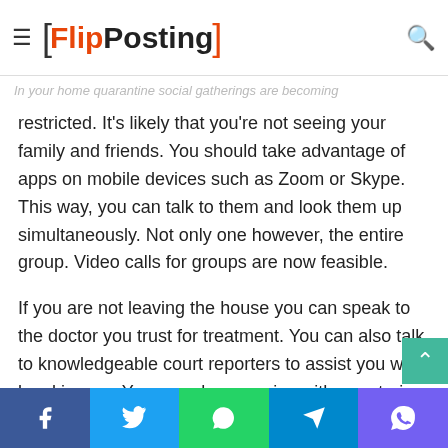communicate with Apps — FlipPosting
In your home quarantine social gatherings are becoming restricted. It's likely that you're not seeing your family and friends. You should take advantage of apps on mobile devices such as Zoom or Skype. This way, you can talk to them and look them up simultaneously. Not only one however, the entire group. Video calls for groups are now feasible.
If you are not leaving the house you can speak to the doctor you trust for treatment. You can also talk to knowledgeable court reporters to assist you with legal issues. You can also exercise with your trainer at the gym. Talk to your friends from all over the globe, but be aware of the time difference.
Social share bar: Facebook, Twitter, WhatsApp, Telegram, Viber